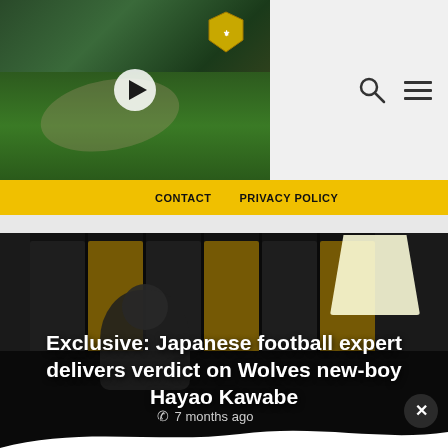[Figure (screenshot): Video thumbnail showing a football player in green kit lying on ground with play button overlay. Yellow banner reads 'Championship -> Non-League In 5 Years'. Top right shows search and menu icons.]
CONTACT    PRIVACY POLICY
[Figure (photo): Dark photo of a man (Japanese football expert) sitting in a locker room with lockers and a bright studio light in background.]
Exclusive: Japanese football expert delivers verdict on Wolves new-boy Hayao Kawabe
7 months ago